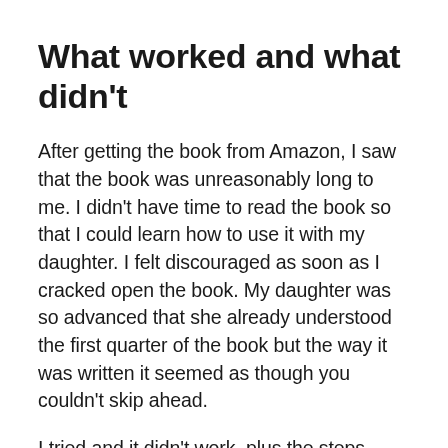What worked and what didn’t
After getting the book from Amazon, I saw that the book was unreasonably long to me. I didn’t have time to read the book so that I could learn how to use it with my daughter. I felt discouraged as soon as I cracked open the book. My daughter was so advanced that she already understood the first quarter of the book but the way it was written it seemed as though you couldn’t skip ahead.
I tried and it didn’t work, plus the steps were so long and it says for you to just do 15 minutes a day. At that rate, my child would